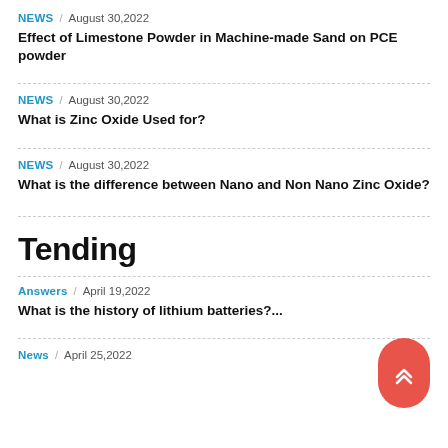NEWS / August 30,2022
Effect of Limestone Powder in Machine-made Sand on PCE powder
NEWS / August 30,2022
What is Zinc Oxide Used for?
NEWS / August 30,2022
What is the difference between Nano and Non Nano Zinc Oxide?
Tending
Answers / April 19,2022
What is the history of lithium batteries?...
News / April 25,2022